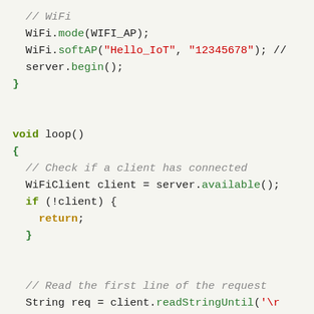[Figure (screenshot): Code snippet showing Arduino/C++ WiFi setup and loop function with syntax highlighting. Lines include WiFi mode setup, softAP call with credentials, server.begin(), void loop() function definition, client connection check, and readStringUntil call.]